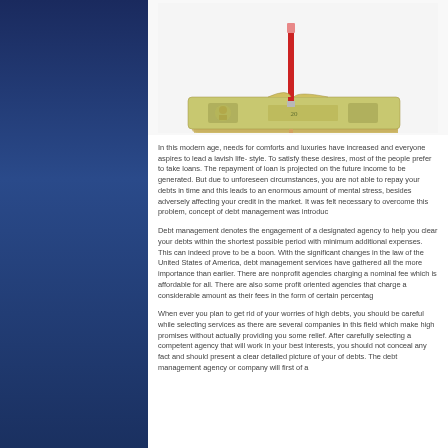[Figure (photo): Photo of a stack of US dollar bills with a pencil or pen pressed down through them, on a white background]
In this modern age, needs for comforts and luxuries have increased and everyone aspires to lead a lavish life- style. To satisfy these desires, most of the people prefer to take loans. The repayment of loan is projected on the future income to be generated. But due to unforeseen circumstances, you are not able to repay your debts in time and this leads to an enormous amount of mental stress, besides adversely affecting your credit in the market. It was felt necessary to overcome this problem, concept of debt management was introduced.
Debt management denotes the engagement of a designated agency to help you clear your debts within the shortest possible period with minimum additional expenses. This can indeed prove to be a boon. With the significant changes in the law of the United States of America, debt management services have gathered all the more importance than earlier. There are nonprofit agencies charging a nominal fee which is affordable for all. There are also some profit oriented agencies that charge a considerable amount as their fees in the form of certain percentage.
When ever you plan to get rid of your worries of high debts, you should be careful while selecting services as there are several companies in this field which make high promises without actually providing you some relief. After carefully selecting a competent agency that will work in your best interests, you should not conceal any fact and should present a clear detailed picture of your of debts. The debt management agency or company will first of all